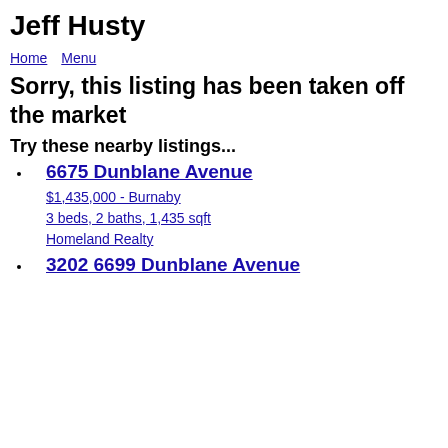Jeff Husty
Home   Menu
Sorry, this listing has been taken off the market
Try these nearby listings...
6675 Dunblane Avenue
$1,435,000 - Burnaby
3 beds, 2 baths, 1,435 sqft
Homeland Realty
3202 6699 Dunblane Avenue